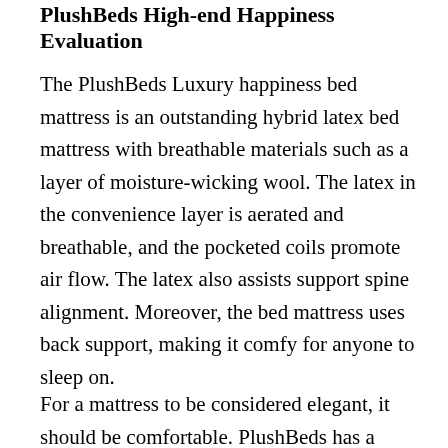PlushBeds High-end Happiness Evaluation
The PlushBeds Luxury happiness bed mattress is an outstanding hybrid latex bed mattress with breathable materials such as a layer of moisture-wicking wool. The latex in the convenience layer is aerated and breathable, and the pocketed coils promote air flow. The latex also assists support spine alignment. Moreover, the bed mattress uses back support, making it comfy for anyone to sleep on.
For a mattress to be considered elegant, it should be comfortable. PlushBeds has a